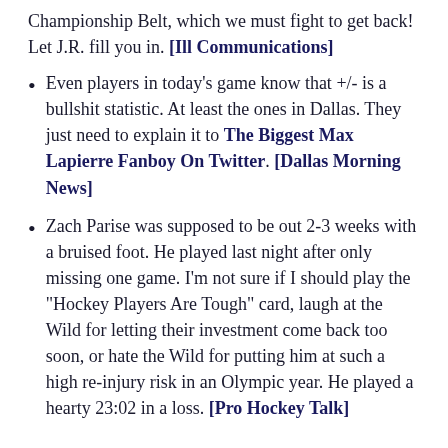Championship Belt, which we must fight to get back! Let J.R. fill you in. [Ill Communications]
Even players in today's game know that +/- is a bullshit statistic. At least the ones in Dallas. They just need to explain it to The Biggest Max Lapierre Fanboy On Twitter. [Dallas Morning News]
Zach Parise was supposed to be out 2-3 weeks with a bruised foot. He played last night after only missing one game. I'm not sure if I should play the "Hockey Players Are Tough" card, laugh at the Wild for letting their investment come back too soon, or hate the Wild for putting him at such a high re-injury risk in an Olympic year. He played a hearty 23:02 in a loss. [Pro Hockey Talk]